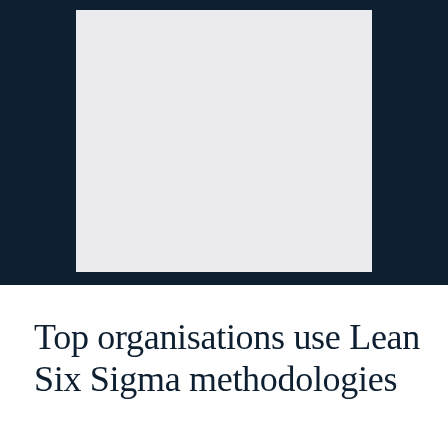[Figure (other): Dark navy blue background with a large light grey rectangle centered horizontally in the upper portion of the image.]
Top organisations use Lean Six Sigma methodologies